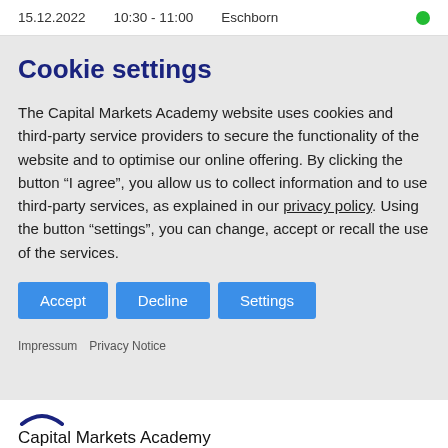15.12.2022   10:30 - 11:00   Eschborn
Cookie settings
The Capital Markets Academy website uses cookies and third-party service providers to secure the functionality of the website and to optimise our online offering. By clicking the button “I agree”, you allow us to collect information and to use third-party services, as explained in our privacy policy. Using the button “settings”, you can change, accept or recall the use of the services.
Accept
Decline
Settings
Impressum   Privacy Notice
Capital Markets Academy